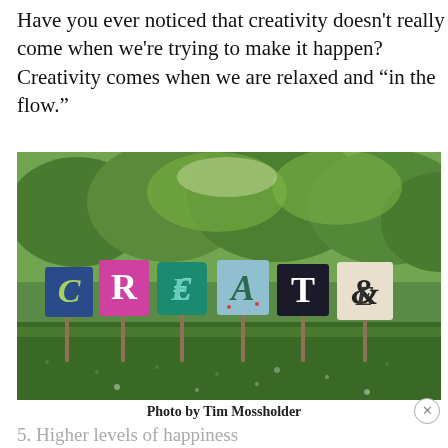Have you ever noticed that creativity doesn't really come when we're trying to make it happen? Creativity comes when we are relaxed and “in the flow.”
[Figure (photo): Outdoor photo showing colorful painted signs on sticks spelling out 'CREATE' in a grassy garden setting with trees in the background.]
Photo by Tim Mossholder
5. Higher levels of happiness